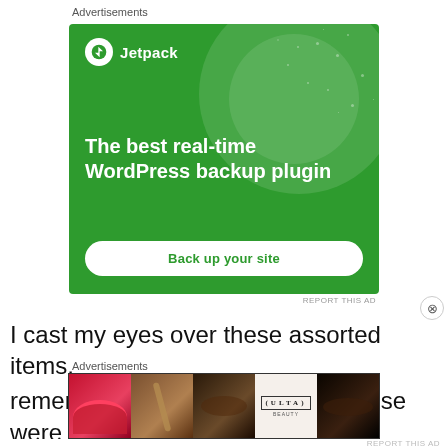Advertisements
[Figure (illustration): Jetpack advertisement banner on green background. Shows Jetpack logo with lightning bolt icon, tagline 'The best real-time WordPress backup plugin', and a 'Back up your site' button.]
REPORT THIS AD
I cast my eyes over these assorted items,
remembering how Scarlett said these were
Advertisements
[Figure (illustration): Ulta Beauty advertisement banner showing makeup imagery — lipstick, makeup brush, eye makeup, Ulta logo, smokey eye, and SHOP NOW button.]
REPORT THIS AD